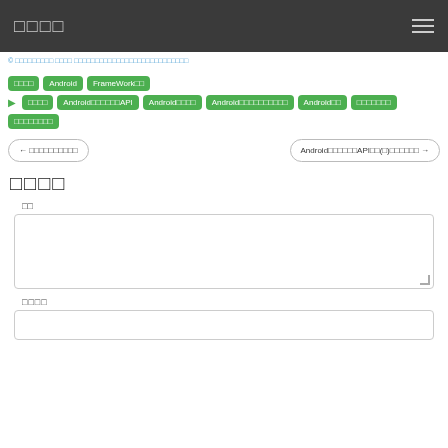□□□□
© □□□□□□□□□□□□□□□□□□□□□□□□□□□□□□□□□□□□
□□□□  Android  FrameWork□□
▶ □□□□  Android□□□□□□API  Android□□□□  Android□□□□□□□□□□  Android□□  □□□□□□□
□□□□□□□□
← □□□□□□□□□□
Android□□□□□□API□□(□)□□□□□□ →
□□□□
□□
□□□□